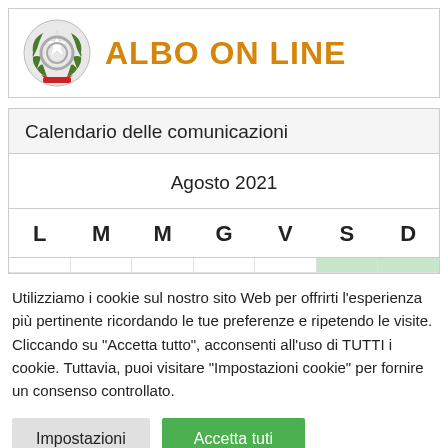[Figure (logo): Italian Republic emblem (circular badge with star and laurel wreath) next to 'ALBO ON LINE' title in orange bold text]
| Calendario delle comunicazioni |
| --- |
| Agosto 2021 |
| L | M | M | G | V | S | D |
Utilizziamo i cookie sul nostro sito Web per offrirti l'esperienza più pertinente ricordando le tue preferenze e ripetendo le visite. Cliccando su "Accetta tutto", acconsenti all'uso di TUTTI i cookie. Tuttavia, puoi visitare "Impostazioni cookie" per fornire un consenso controllato.
Impostazioni | Accetta tuti